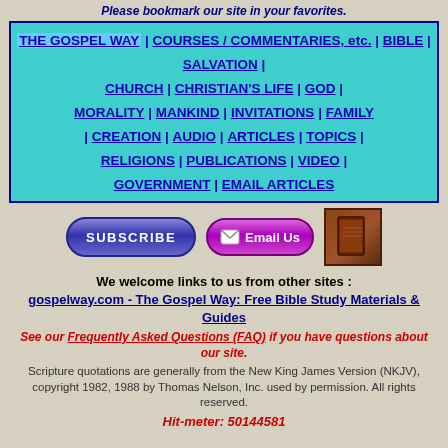Please bookmark our site in your favorites.
THE GOSPEL WAY | COURSES / COMMENTARIES, etc. | BIBLE | SALVATION | CHURCH | CHRISTIAN'S LIFE | GOD | MORALITY | MANKIND | INVITATIONS | FAMILY | CREATION | AUDIO | ARTICLES | TOPICS | RELIGIONS | PUBLICATIONS | VIDEO | GOVERNMENT | EMAIL ARTICLES
[Figure (other): Subscribe button, Email Us button, and book icon buttons row]
We welcome links to us from other sites : gospelway.com - The Gospel Way: Free Bible Study Materials & Guides
See our Frequently Asked Questions (FAQ) if you have questions about our site.
Scripture quotations are generally from the New King James Version (NKJV), copyright 1982, 1988 by Thomas Nelson, Inc. used by permission. All rights reserved.
Hit-meter: 50144581